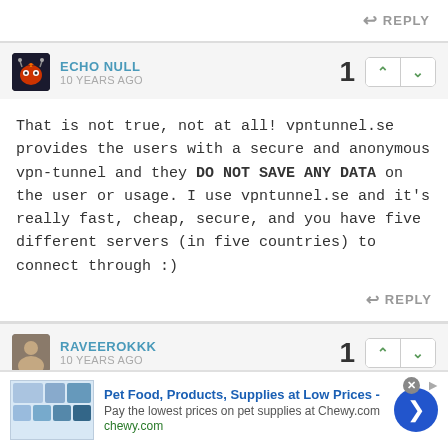↩ REPLY
ECHO NULL • 10 YEARS AGO • 1
That is not true, not at all! vpntunnel.se provides the users with a secure and anonymous vpn-tunnel and they DO NOT SAVE ANY DATA on the user or usage. I use vpntunnel.se and it's really fast, cheap, secure, and you have five different servers (in five countries) to connect through :)
↩ REPLY
RAVEEROKKK • 10 YEARS AGO • 1
Hey,
Pet Food, Products, Supplies at Low Prices - Pay the lowest prices on pet supplies at Chewy.com chewy.com